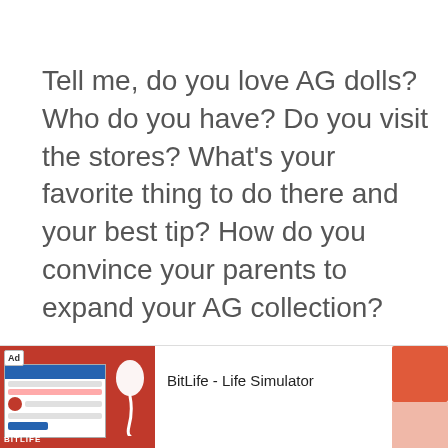Tell me, do you love AG dolls? Who do you have? Do you visit the stores? What's your favorite thing to do there and your best tip? How do you convince your parents to expand your AG collection?
[Figure (screenshot): Advertisement banner for BitLife - Life Simulator app showing Ad label, app screenshot, BitLife logo with sperm icon, app name, and Install button]